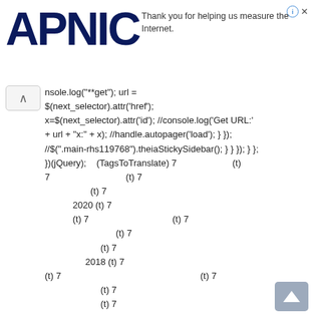APNIC — Thank you for helping us measure the Internet.
console.log("**get"); url = $(next_selector).attr('href'); x=$(next_selector).attr('id'); //console.log('Get URL:' + url + "x:" + x); //handle.autopager('load'); } }); //".main-rhs119768").theiaStickySidebar(); } } }); } }; })(jQuery);    (TagsToTranslate) 7                   (t) 7 7                           (t) 7                 (t) 7         2020 (t) 7         (t) 7                           (t) 7                     (t) 7             (t) 7         2018 (t) 7 (t) 7                                         (t) 7             (t) 7             (t) 7